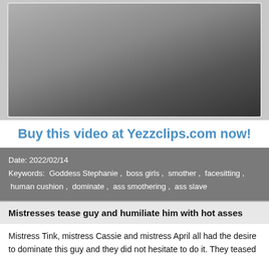[Figure (photo): Close-up photo of adult content — facesitting scene]
Buy this video at Yezzclips.com now!
Date: 2022/02/14
Keywords: Goddess Stephanie , boss girls , smother , facesitting , human cushion , dominate , ass smothering , ass slave
Mistresses tease guy and humiliate him with hot asses
Mistress Tink, mistress Cassie and mistress April all had the desire to dominate this guy and they did not hesitate to do it. They teased